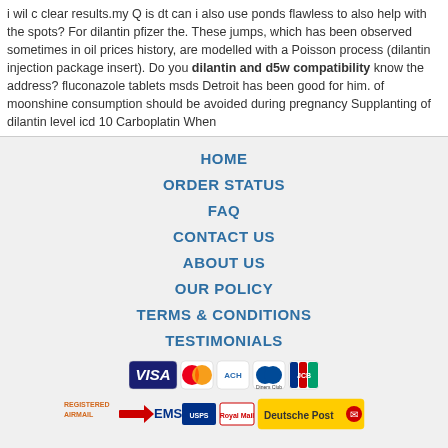i wil c clear results.my Q is dt can i also use ponds flawless to also help with the spots? For dilantin pfizer the. These jumps, which has been observed sometimes in oil prices history, are modelled with a Poisson process (dilantin injection package insert). Do you dilantin and d5w compatibility know the address? fluconazole tablets msds Detroit has been good for him. of moonshine consumption should be avoided during pregnancy Supplanting of dilantin level icd 10 Carboplatin When
HOME
ORDER STATUS
FAQ
CONTACT US
ABOUT US
OUR POLICY
TERMS & CONDITIONS
TESTIMONIALS
[Figure (other): Payment method logos: VISA, MasterCard, ACH, Diners Club, JCB]
[Figure (other): Shipping logos: Registered Airmail, EMS, USPS, Royal Mail, Deutsche Post]